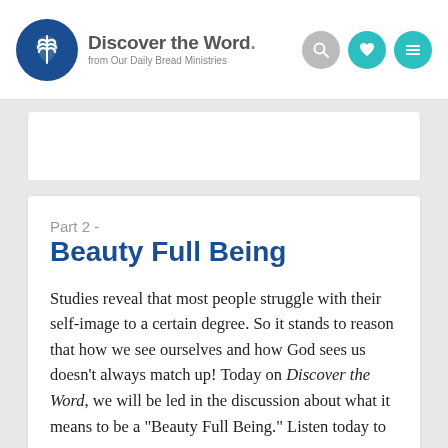Discover the Word. from Our Daily Bread Ministries
Part 2 -
Beauty Full Being
Studies reveal that most people struggle with their self-image to a certain degree. So it stands to reason that how we see ourselves and how God sees us doesn’t always match up! Today on Discover the Word, we will be led in the discussion about what it means to be a “Beauty Full Being.” Listen today to